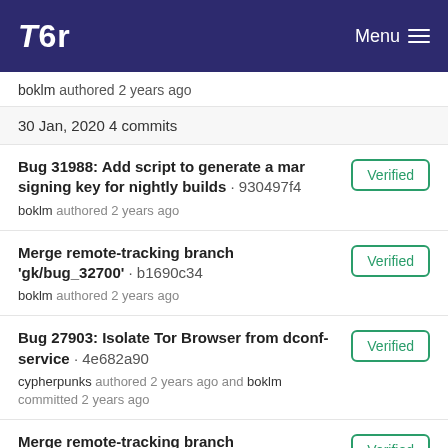Tor Menu
boklm authored 2 years ago
30 Jan, 2020 4 commits
Bug 31988: Add script to generate a mar signing key for nightly builds · 930497f4
boklm authored 2 years ago
Verified
Merge remote-tracking branch 'gk/bug_32700' · b1690c34
boklm authored 2 years ago
Verified
Bug 27903: Isolate Tor Browser from dconf-service · 4e682a90
cypherpunks authored 2 years ago and boklm committed 2 years ago
Verified
Merge remote-tracking branch 'phw/task/32891' · 215aed39
boklm authored 2 years ago
Verified